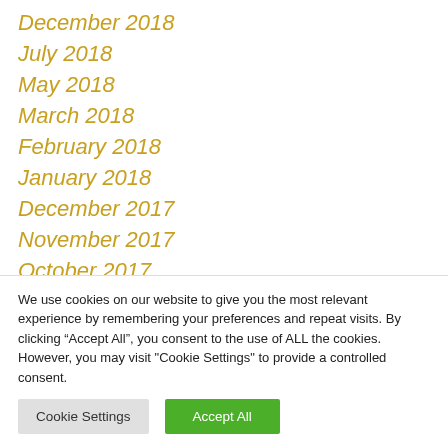December 2018
July 2018
May 2018
March 2018
February 2018
January 2018
December 2017
November 2017
October 2017
We use cookies on our website to give you the most relevant experience by remembering your preferences and repeat visits. By clicking “Accept All”, you consent to the use of ALL the cookies. However, you may visit "Cookie Settings" to provide a controlled consent.
Cookie Settings | Accept All